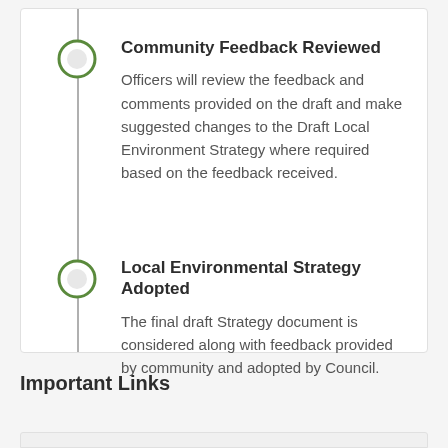Community Feedback Reviewed
Officers will review the feedback and comments provided on the draft and make suggested changes to the Draft Local Environment Strategy where required based on the feedback received.
Local Environmental Strategy Adopted
The final draft Strategy document is considered along with feedback provided by community and adopted by Council.
Important Links